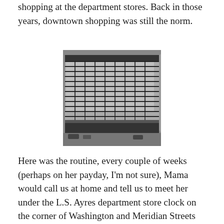shopping at the department stores. Back in those years, downtown shopping was still the norm.
[Figure (photo): Black and white photograph of a large multi-story department store building, likely L.S. Ayres, with grid-pattern windows and street-level storefronts. Vintage cars and pedestrians visible at street level.]
Here was the routine, every couple of weeks (perhaps on her payday, I'm not sure), Mama would call us at home and tell us to meet her under the L.S. Ayres department store clock on the corner of Washington and Meridian Streets right at Noon. My brother and I would walk the distance, one and a half miles. My brother insisted that we could walk it in 30 minutes or less and although that may be a reasonable time for a teenager, it was a lot of double timing for my short legs.